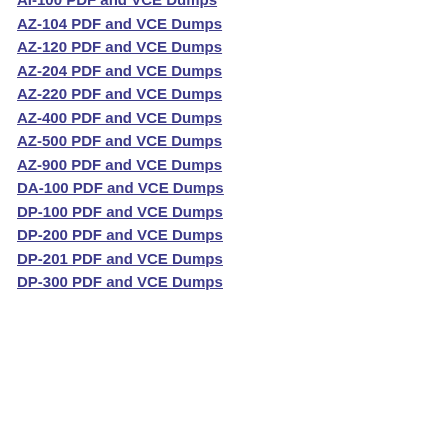AI-100 PDF and VCE Dumps
AZ-104 PDF and VCE Dumps
AZ-120 PDF and VCE Dumps
AZ-204 PDF and VCE Dumps
AZ-220 PDF and VCE Dumps
AZ-400 PDF and VCE Dumps
AZ-500 PDF and VCE Dumps
AZ-900 PDF and VCE Dumps
DA-100 PDF and VCE Dumps
DP-100 PDF and VCE Dumps
DP-200 PDF and VCE Dumps
DP-201 PDF and VCE Dumps
DP-300 PDF and VCE Dumps